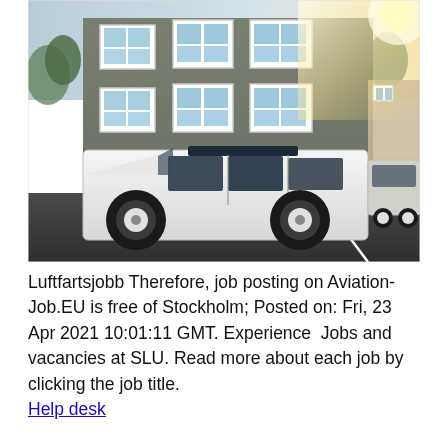[Figure (photo): Outdoor photograph of a white Land Rover Defender SUV parked in a parking space in front of a multi-storey grey building with white-framed windows. Sunlight flares in the upper right corner. Another vehicle is partially visible on the right side.]
Luftfartsjobb Therefore, job posting on Aviation-Job.EU is free of Stockholm; Posted on: Fri, 23 Apr 2021 10:01:11 GMT. Experience  Jobs and vacancies at SLU. Read more about each job by clicking the job title.
Help desk